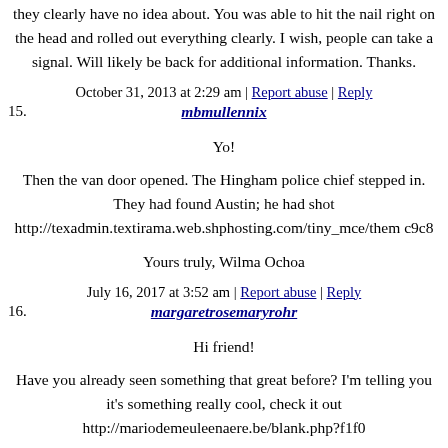they clearly have no idea about. You was able to hit the nail right on the head and rolled out everything clearly. I wish, people can take a signal. Will likely be back for additional information. Thanks.
October 31, 2013 at 2:29 am | Report abuse | Reply
15. mbmullennix
Yo!
Then the van door opened. The Hingham police chief stepped in. They had found Austin; he had shot http://texadmin.textirama.web.shphosting.com/tiny_mce/them c9c8
Yours truly, Wilma Ochoa
July 16, 2017 at 3:52 am | Report abuse | Reply
16. margaretrosemaryrohr
Hi friend!
Have you already seen something that great before? I'm telling you it's something really cool, check it out http://mariodemeuleenaere.be/blank.php?f1f0
Omar Mayberry